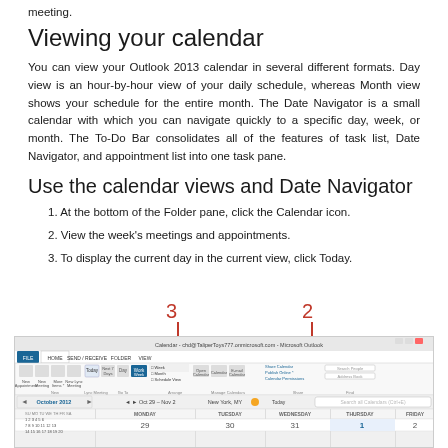meeting.
Viewing your calendar
You can view your Outlook 2013 calendar in several different formats. Day view is an hour-by-hour view of your daily schedule, whereas Month view shows your schedule for the entire month. The Date Navigator is a small calendar with which you can navigate quickly to a specific day, week, or month. The To-Do Bar consolidates all of the features of task list, Date Navigator, and appointment list into one task pane.
Use the calendar views and Date Navigator
1. At the bottom of the Folder pane, click the Calendar icon.
2. View the week's meetings and appointments.
3. To display the current day in the current view, click Today.
[Figure (screenshot): Microsoft Outlook 2013 Calendar view showing week of Oct 29 - Nov 2 with callout numbers 2 and 3 pointing to specific UI elements]